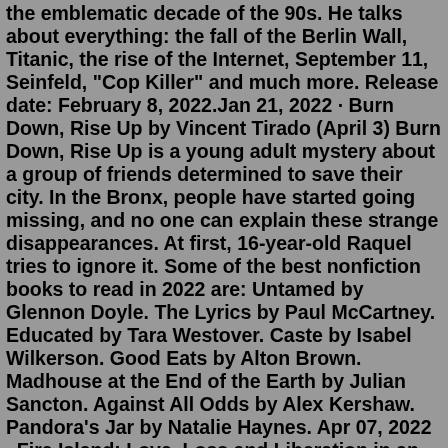the emblematic decade of the 90s. He talks about everything: the fall of the Berlin Wall, Titanic, the rise of the Internet, September 11, Seinfeld, "Cop Killer" and much more. Release date: February 8, 2022.Jan 21, 2022 · Burn Down, Rise Up by Vincent Tirado (April 3) Burn Down, Rise Up is a young adult mystery about a group of friends determined to save their city. In the Bronx, people have started going missing, and no one can explain these strange disappearances. At first, 16-year-old Raquel tries to ignore it. Some of the best nonfiction books to read in 2022 are: Untamed by Glennon Doyle. The Lyrics by Paul McCartney. Educated by Tara Westover. Caste by Isabel Wilkerson. Good Eats by Alton Brown. Madhouse at the End of the Earth by Julian Sancton. Against All Odds by Alex Kershaw. Pandora's Jar by Natalie Haynes. Apr 07, 2022 · Fire Island: Love, Loss and Liberation in an American Paradise by Jack Parlett. In his meditative look back at the famous queer party island in New York, Jack Parlett adds his own autobiographical... The New York Times Notable